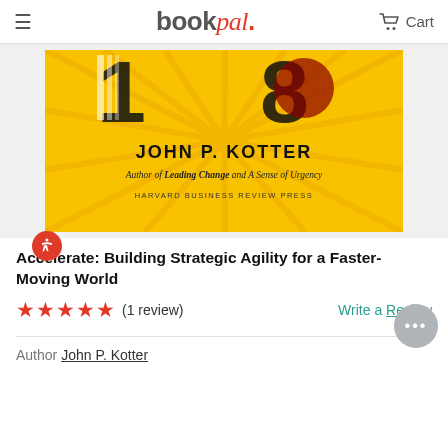bookpal. Cart
[Figure (photo): Book cover of 'Accelerate: Building Strategic Agility for a Faster-Moving World' by John P. Kotter, published by Harvard Business Review Press. Yellow background with large stylized number graphic. Text reads: JOHN P. KOTTER, Author of Leading Change and A Sense of Urgency, HARVARD BUSINESS REVIEW PRESS.]
Accelerate: Building Strategic Agility for a Faster-Moving World
★★★★★ (1 review)   Write a Review
Author John P. Kotter